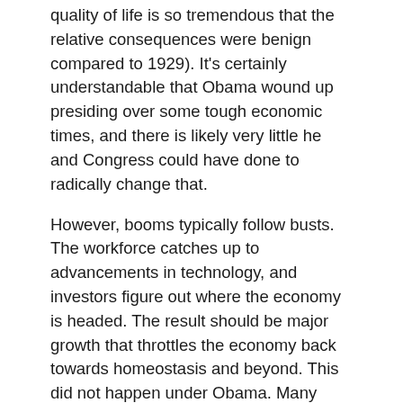quality of life is so tremendous that the relative consequences were benign compared to 1929). It's certainly understandable that Obama wound up presiding over some tough economic times, and there is likely very little he and Congress could have done to radically change that.
However, booms typically follow busts. The workforce catches up to advancements in technology, and investors figure out where the economy is headed. The result should be major growth that throttles the economy back towards homeostasis and beyond. This did not happen under Obama. Many have called his recovery the worst in American history, and it's not an outlandish claim. While the deceptive unemployment rate has returned to pre-recession levels, the workforce participation rate is at its lowest in decades.
The most telling statistic is the primary one used to judge a nation's economic achievement: GDP growth rate. Since the Great Depression ended, there have been twenty-two years in which the USA's GDP growth was below 5%. Seven of those years (about a third) occurred with Obama in the White